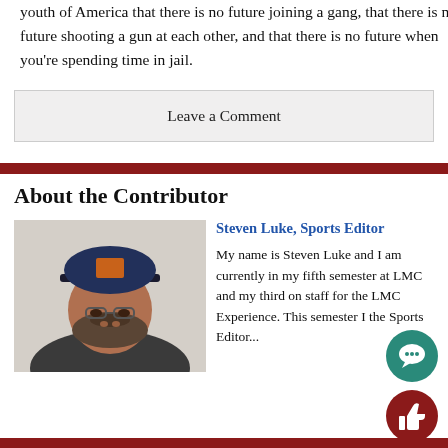youth of America that there is no future joining a gang, that there is no future shooting a gun at each other, and that there is no future when you’re spending time in jail.
Leave a Comment
About the Contributor
[Figure (photo): Headshot of Steven Luke wearing a baseball cap and glasses, with a beard, indoors.]
Steven Luke, Sports Editor
My name is Steven Luke and I am currently in my fifth semester at LMC and my third on staff for the LMC Experience. This semester I the Sports Editor...